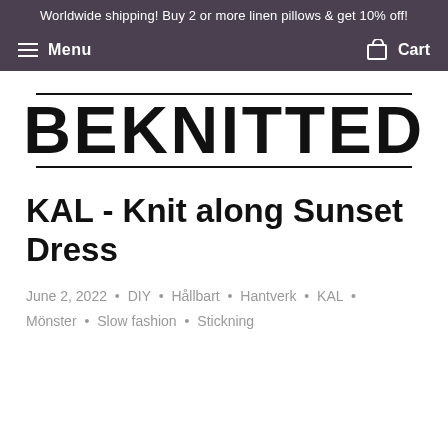Worldwide shipping! Buy 2 or more linen pillows & get 10% off!
Menu  Cart
[Figure (logo): BEKNITTED logo in large bold uppercase letters with horizontal rules above and below]
KAL - Knit along Sunset Dress
June 2, 2022 · DIY · Hållbart · Hantverk · KAL · Mönster · Slow fashion · Stickning